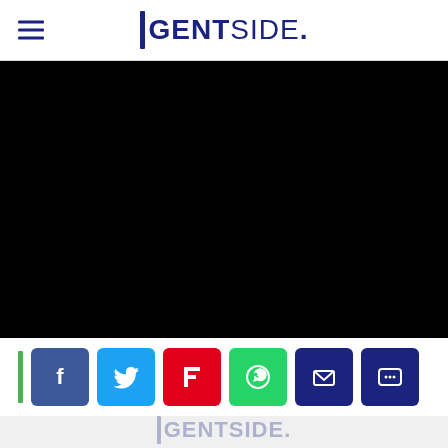GENTSIDE.
[Figure (photo): Large black image area (video or photo placeholder)]
[Figure (infographic): Social sharing bar with green accent, Facebook, Twitter, Flipboard, WhatsApp, Email, and Message icons]
GENTSIDE.